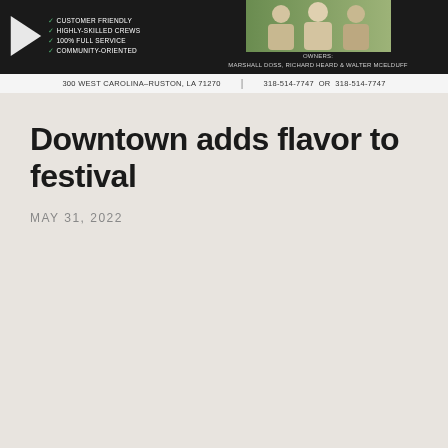[Figure (other): Advertisement banner for a business. Black background with logo arrow, checklist of services (Customer Friendly, Highly-Skilled Crews, 100% Full Service, Community-Oriented), photo of three people, OWNERS: MARSHALL DOSS, RICHARD HEARD & WALTER MCELDUFF. Footer: 300 WEST CAROLINA-RUSTON, LA 71270 | 318-514-7747 OR 318-514-7747]
Downtown adds flavor to festival
MAY 31, 2022